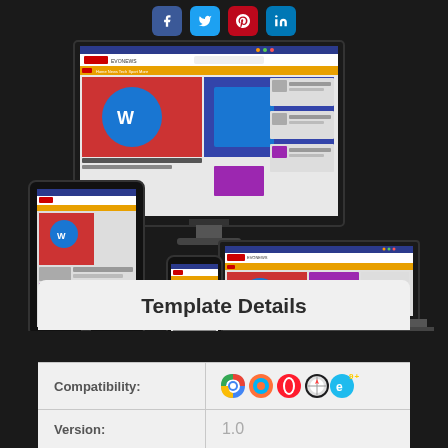[Figure (screenshot): Social sharing buttons: Facebook (blue), Twitter (light blue), Pinterest (red), LinkedIn (blue)]
[Figure (screenshot): Responsive website mockup showing a WordPress news theme displayed across monitor, laptop, tablet, and phone devices on dark background]
Template Details
| Compatibility: | Browser icons (Chrome, Firefox, Opera, Safari, IE9+) |
| Version: | 1.0 |